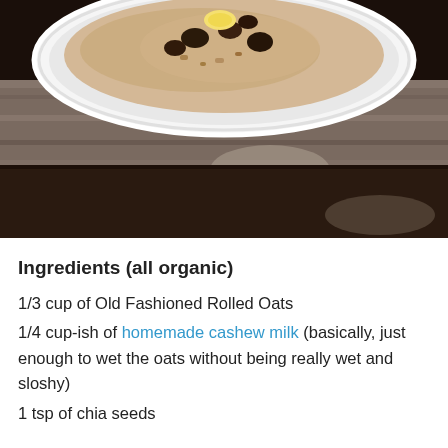[Figure (photo): Overhead photograph of a white bowl containing oatmeal with toppings including what appear to be chocolate chips or raisins and a banana slice, placed on a dark marble/granite surface with a wooden table below.]
Ingredients (all organic)
1/3 cup of Old Fashioned Rolled Oats
1/4 cup-ish of homemade cashew milk (basically, just enough to wet the oats without being really wet and sloshy)
1 tsp of chia seeds